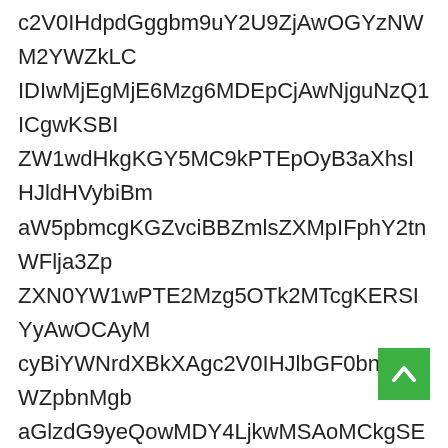c2V0IHdpdGggbm9uY2U9ZjAwOGYzNWM2YWZkLCIDIwMjEgMjE6Mzg6MDEpCjAwNjguNzQ1ICgwKSBZW1wdHkgKGY5MC9kPTEpOyB3aXhsIHJldHVybiBmbiB0byBhW5pbmcgKGZvciBBmaWxlcykgWmFja2YmFja3ZpIHNlbGYsZXQgKGZvciBvdXIgb3duIGRvY3VtZW50cykg3RZXMwPTE2Mzg5OTk2MTcgKERSIYyAwOCAyMDIxIDIyOjA3OjU3KSBjeUJpWW5rdXBkXAgc2V0IHJlbGF0bnRlbVpbnMgZpbnMuLWVtdzhlbQVtcHR5IGFuZCBzZXRzSSBzdWl0ZSBhZ2VudEB3ZWIgdG8gMCkgKGZvciBvdXIgb3duIG51YW5jZXMpIGZvciBvdXIgb3duIG51YW5jZXMpCk1qb05Ub3dPQ2tLTURBMk9DNDNORFVnS0RBcElGUm9hWE1nWmowTEQ5TUNrN0lIZHBiR3djbVYwWVdsdUlHbHVJR2hwYzNSdmMxZXBhV0ZqYzJWMGNiTGdzeFVHbHo2TURJNUlRa0lCRFpYUWdjbVZ0WVdsdWN5QnViMjR0Wlcxd2RIa2dLR1k5TVM5a1BQVEV3T1NRTlBUcFBXXpJQ3ZHa1pjRjB0bVcxWVBhVzVwYm1jZ0tHWnZjaUJtYVd4bGN5a2dZbUZqYTNWd0lITmxkQ0IzYVhSb2lJR0Ymc0lHZjB0WVdsdUlHbHVJR2hwYzNSdmMxZXBhS1FBTURZNExqa01DQW9NQ2tnVkdocGN5QmlZV05yZHhBZ2MyVjBJSGRwZEdnZ2JtOXVLVnRjaFJTb1FNRHkxSURJd01qRWdNakk2TkRNS1RlcmxDbHJaWGxXNHRXNG9HTWE9ClBXTmxaWFFnT1RNNUlDZ3dLU0JGZUdGdFc1cGJtY2dLR1p2Y2lCbWFXeGxjeWtnWW1GamEzVndJSE5sZkNCM2FYUm9JSEpwWTJoaGtSbGxlcEpvaWNHcVBXTklTRGRrWldZd1lXVm1aU3dnWkdGMFpYTjBZVzFiWVhSbGJIUm9iMnhrWlcxd2RIa2dLR1k5TVM5a1BURXBPeUIzYVd4c0lISmxkaFB3YVc1cGJtY0ZLeUJHYVdsQVBXW0dBekUxSUMwd05UUWdLRGd3S1NCT1BURVVnS0RBcElFUm9JU0VnS0dZOU1TNWtQVEVwT3lCM2FXeHNJSEpsZHJpSlBXTlFNREkyOXliM0J1WVcxbElHSnZkWFJrWlhaT1FpQjNiWFZzWWk0M2ZBZ01EUjBhV3hzS1FCUFB3PT0=